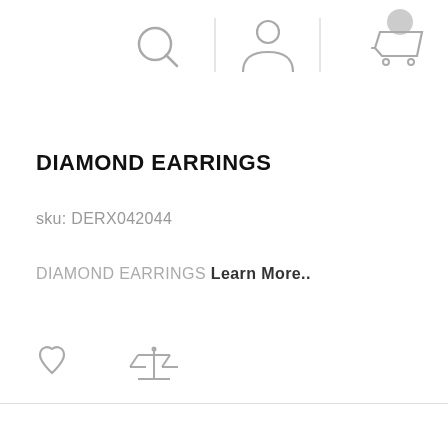[Figure (screenshot): Navigation header icons: search magnifying glass, user/account person icon, cart icon with a circular badge indicator]
DIAMOND EARRINGS
sku: DERX042044
DIAMOND EARRINGS Learn More..
[Figure (illustration): Two action icons: a heart (wishlist) icon and a balance/compare scales icon]